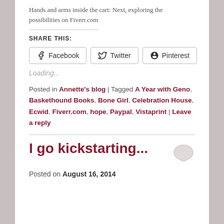Hands and arms inside the cart: Next, exploring the possibilities on Fiverr.com
SHARE THIS:
Facebook  Twitter  Pinterest
Loading...
Posted in Annette's blog | Tagged A Year with Geno, Baskethound Books, Bone Girl, Celebration House, Ecwid, Fiverr.com, hope, Paypal, Vistaprint | Leave a reply
I go kickstarting...
Posted on August 16, 2014